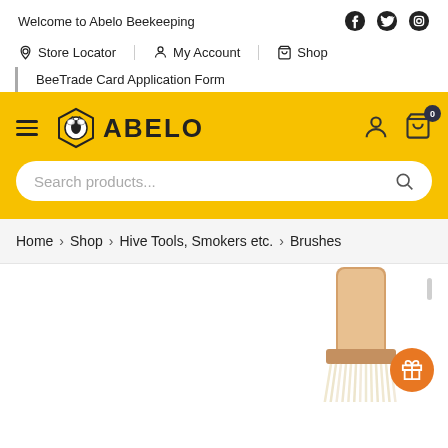Welcome to Abelo Beekeeping
Store Locator | My Account | Shop
BeeTrade Card Application Form
[Figure (logo): Abelo Beekeeping logo with hexagon bee icon and text ABELO on yellow background, with hamburger menu, user icon, and cart showing 0 items, and search bar]
Home › Shop › Hive Tools, Smokers etc. › Brushes
[Figure (photo): Wooden bee brush with white bristles partially visible at bottom right of page]